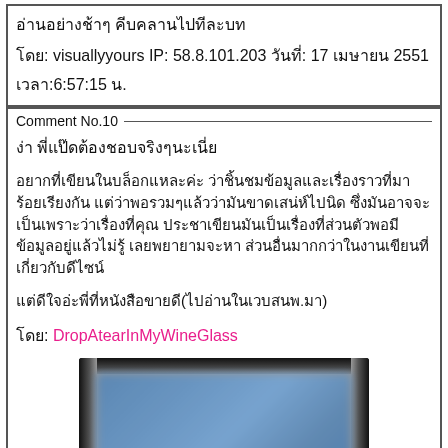อ่านอย่างช้าๆ คีบคลานไปทีละบท
โดย: visuallyyours IP: 58.8.101.203 วันที่: 17 เมษายน 2551
เวลา:6:57:15 น.
Comment No.10
ง่า พี่แป๊ดต้องชอบจริงๆนะเนี่ย
อยากที่เขียนในบล็อกแหละค่ะ ว่าชิ้นชมข้อมูลและเรื่องราวที่มาร้อยเรียงกัน แต่ว่าพอรวมๆแล้วว่ามันขาดเสน่ห์ไปนิด ซึ่งมันอาจจะเป็นเพราะว่าเรื่องที่คุณประชาเขียนมันเป็นเรื่องที่ส่วนตัวพอมีข้อมูลอยู่แล้วไม่รู้ เลยพยายามจะหาส่วนอื่นมากกว่าในงานเขียนที่เกี่ยวกับดีไซน์
แต่ดีใจอ่ะพี่ที่หนังสือขายดี(ไปอ่านในเวบสนพ.มา)
โดย: DropAtearInMyWineGlass
[Figure (photo): Blurred/pixelated image of what appears to be a blue electronic device or book cover]